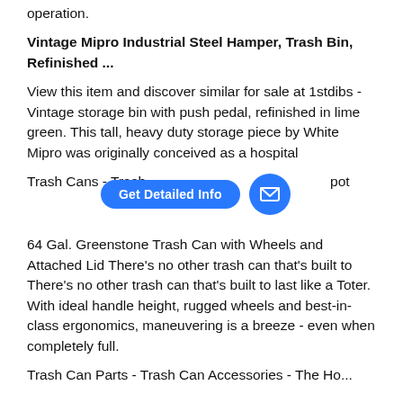operation.
Vintage Mipro Industrial Steel Hamper, Trash Bin, Refinished ...
View this item and discover similar for sale at 1stdibs - Vintage storage bin with push pedal, refinished in lime green. This tall, heavy duty storage piece by White Mipro was originally conceived as a hospital
Trash Cans - Trash ... Ho...pot
[Figure (screenshot): Blue pill-shaped button labeled 'Get Detailed Info' and a blue circular button with an email/envelope icon, overlaid on the text content.]
64 Gal. Greenstone Trash Can with Wheels and Attached Lid There's no other trash can that's built to There's no other trash can that's built to last like a Toter. With ideal handle height, rugged wheels and best-in-class ergonomics, maneuvering is a breeze - even when completely full.
Trash Can Parts - Trash Can Accessories - The Ho...